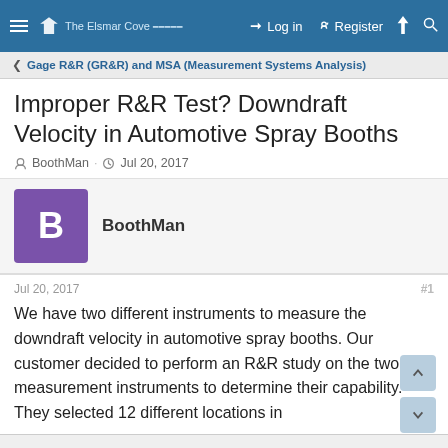The Elsmar Cove | Log in | Register
Gage R&R (GR&R) and MSA (Measurement Systems Analysis)
Improper R&R Test? Downdraft Velocity in Automotive Spray Booths
BoothMan · Jul 20, 2017
BoothMan
Jul 20, 2017  #1
We have two different instruments to measure the downdraft velocity in automotive spray booths. Our customer decided to perform an R&R study on the two measurement instruments to determine their capability. They selected 12 different locations in
This site uses cookies to help personalise content, tailor your experience and to keep you logged in if you register.
By continuing to use this site, you are consenting to the use of cookies.